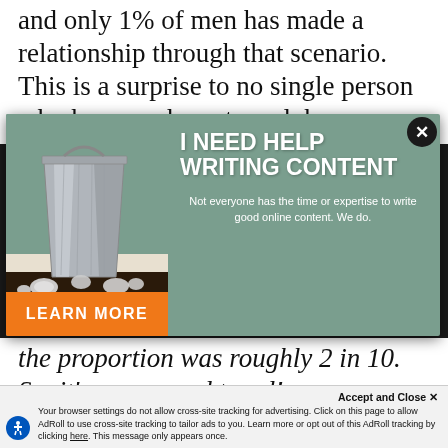and only 1% of men has made a relationship through that scenario. This is a surprise to no single person who has ever been to a club.
[Figure (screenshot): Advertisement overlay showing a trash can with crumpled paper on a desk background. Headline reads 'I NEED HELP WRITING CONTENT'. Subtext: 'Not everyone has the time or expertise to write good online content. We do.' Orange button: 'LEARN MORE'. Close button (X) in top right corner.]
the proportion was roughly 2 in 10. So, it's an upward trend!
Accept and Close ✕
Your browser settings do not allow cross-site tracking for advertising. Click on this page to allow AdRoll to use cross-site tracking to tailor ads to you. Learn more or opt out of this AdRoll tracking by clicking here. This message only appears once.